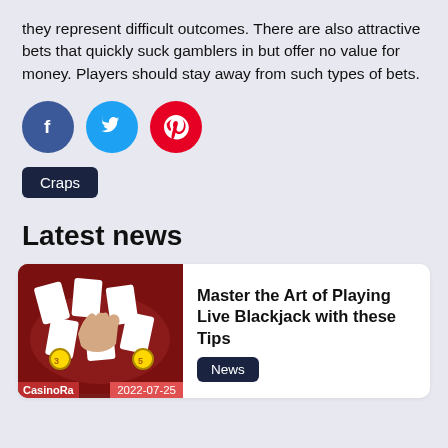they represent difficult outcomes. There are also attractive bets that quickly suck gamblers in but offer no value for money. Players should stay away from such types of bets.
[Figure (infographic): Three social media share buttons: Facebook (blue circle with 'f'), Twitter (cyan circle with bird icon), Pinterest (red circle with 'p' pin icon)]
Craps
Latest news
[Figure (photo): Photo of a blackjack table with cards and a hand, casino setting. Overlaid with CasinoRa logo and date badge 2022-07-25]
Master the Art of Playing Live Blackjack with these Tips
News